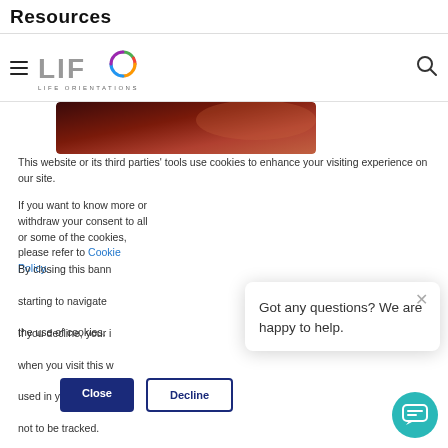Resources
[Figure (logo): LIFO Life Orientations logo with colorful circular icon]
[Figure (photo): Dark reddish-brown hero image banner]
This website or its third parties' tools use cookies to enhance your visiting experience on our site.
If you want to know more or withdraw your consent to all or some of the cookies, please refer to Cookie Policy.
By closing this banner, scrolling this page, or starting to navigate elsewhere, you agree to the use of cookies.
If you decline, your information won't be tracked when you visit this website. A single cookie will be used in your browser to remember your preference not to be tracked.
Got any questions? We are happy to help.